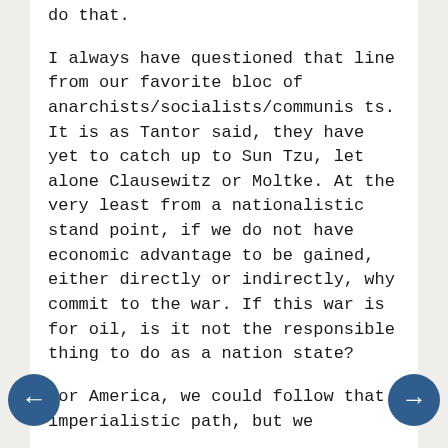do that.

I always have questioned that line from our favorite bloc of anarchists/socialists/communists. It is as Tantor said, they have yet to catch up to Sun Tzu, let alone Clausewitz or Moltke. At the very least from a nationalistic stand point, if we do not have economic advantage to be gained, either directly or indirectly, why commit to the war. If this war is for oil, is it not the responsible thing to do as a nation state?

For America, we could follow that imperialistic path, but we